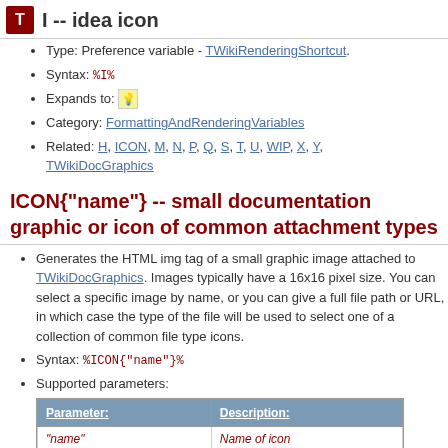I -- idea icon
Type: Preference variable - TWikiRenderingShortcut.
Syntax: %I%
Expands to: [lightbulb icon]
Category: FormattingAndRenderingVariables
Related: H, ICON, M, N, P, Q, S, T, U, WIP, X, Y, TWikiDocGraphics
ICON{"name"} -- small documentation graphic or icon of common attachment types
Generates the HTML img tag of a small graphic image attached to TWikiDocGraphics. Images typically have a 16x16 pixel size. You can select a specific image by name, or you can give a full file path or URL, in which case the type of the file will be used to select one of a collection of common file type icons.
Syntax: %ICON{"name"}%
Supported parameters:
| Parameter: | Description: |
| --- | --- |
| "name" | Name of icon |